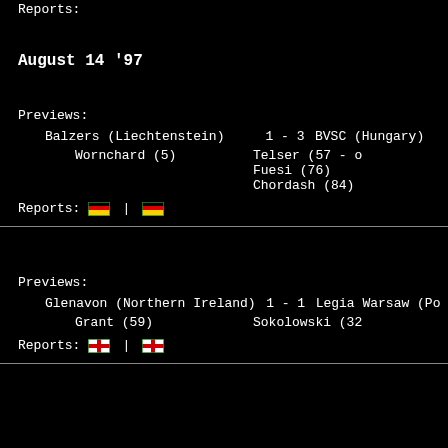Reports:
August 14 '97
Previews:
Balzers (Liechtenstein)  1 - 3  BVSC (Hungary)
Wornchard (5)  |  Telser (57 - o
Fuesi (76)
Chordash (84)
Reports: [German flag] | [German flag]
Previews:
Glenavon (Northern Ireland)  1 - 1  Legia Warsaw (Poland)
Grant (59)  |  Sokolowski (32)
Reports: [English flag] | [English flag]